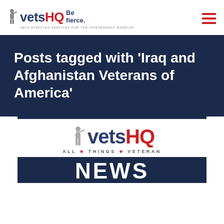[Figure (logo): VetsHQ logo with soldier silhouette, 'vets' in dark blue, 'HQ' in red, tagline 'Be fierce.' and subtitle 'Self-directed services for the independent warrior']
Posts tagged with ‘Iraq and Afghanistan Veterans of America’
[Figure (logo): VetsHQ All Things Veteran NEWS logo card with dark border bar, soldier silhouette, vets in dark blue, HQ in red, ALL * THINGS * VETERAN tagline, and NEWS on dark blue banner]